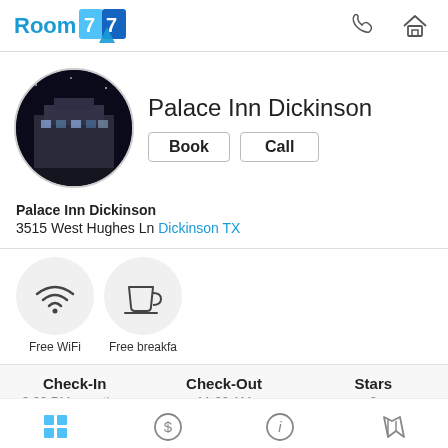Room 77
[Figure (photo): Palace Inn Dickinson hotel building at night with blue lighting, shown in a circular crop]
Palace Inn Dickinson
Book | Call
Palace Inn Dickinson
3515 West Hughes Ln Dickinson TX
[Figure (infographic): Free WiFi icon (circular badge with wifi signal symbol) and Free breakfast icon (circular badge with coffee cup symbol)]
Free WiFi   Free breakfast
| Check-In | Check-Out | Stars |
| --- | --- | --- |
| 3:00 PM - anytime | 11:00 AM | 3 |
[Figure (infographic): Bottom navigation bar with grid, dollar, info, and map icons]